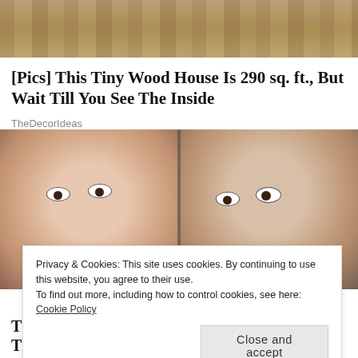[Figure (photo): Photograph of stacked wooden logs, possibly a log cabin construction site with snow visible in the background]
[Pics] This Tiny Wood House Is 290 sq. ft., But Wait Till You See The Inside
TheDecorIdeas
[Figure (photo): Side-by-side close-up photos of a woman's face showing two different expressions]
Privacy & Cookies: This site uses cookies. By continuing to use this website, you agree to their use.
To find out more, including how to control cookies, see here: Cookie Policy
Close and accept
The Girl Uploaded A Short Video On TikTok & This Happened...